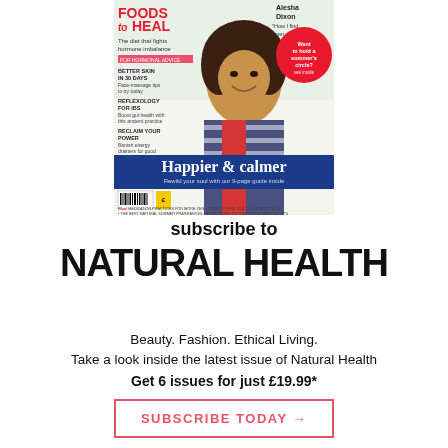[Figure (photo): Magazine cover of Natural Health showing a smiling woman with curly hair wearing a striped cardigan over a red top. Cover features 'FOODS to HEAL' headline, 'Happier & calmer' banner, and smaller cover lines including Alesha Dixon quote, reflexology, better skin, and reclaim your power articles.]
subscribe to
NATURAL HEALTH
Beauty. Fashion. Ethical Living.
Take a look inside the latest issue of Natural Health
Get 6 issues for just £19.99*
SUBSCRIBE TODAY →